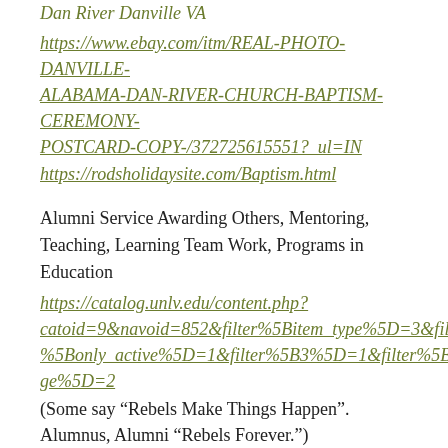Dan River Danville VA
https://www.ebay.com/itm/REAL-PHOTO-DANVILLE-ALABAMA-DAN-RIVER-CHURCH-BAPTISM-CEREMONY-POSTCARD-COPY-/372725615551?_ul=IN
https://rodsholidaysite.com/Baptism.html
Alumni Service Awarding Others, Mentoring, Teaching, Learning Team Work, Programs in Education
https://catalog.unlv.edu/content.php?catoid=9&navoid=852&filter%5Bitem_type%5D=3&filter%5Bonly_active%5D=1&filter%5B3%5D=1&filter%5Bcpage%5D=2
(Some say “Rebels Make Things Happen”.  Alumnus, Alumni “Rebels Forever.”)
https://catalog.csn.edu/content.php?catoid=3&navoid=126   Coyotes
https://continuingeducation.unlv.edu/programs-and-courses
https://www.averett.edu/academics/majors-and-